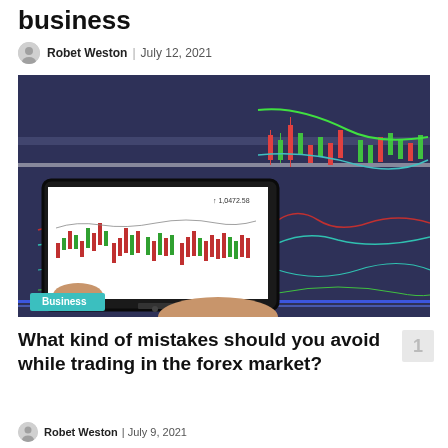business
Robet Weston | July 12, 2021
[Figure (photo): Person holding a Samsung tablet displaying forex candlestick trading charts, with a large monitor showing trading charts with red and green candlesticks and technical indicators in the background. A 'Business' tag overlay appears at the bottom left of the image.]
What kind of mistakes should you avoid while trading in the forex market?
Robet Weston | July 9, 2021